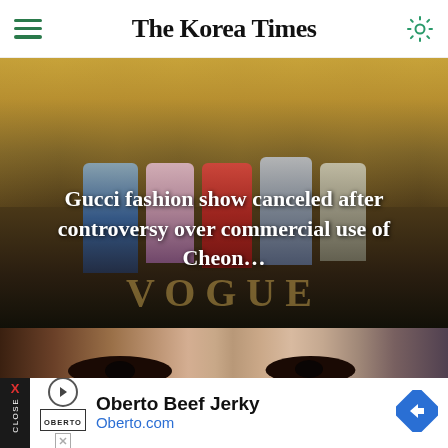The Korea Times
[Figure (photo): Fashion photo showing models in ornate historical costumes inside a grand gilded hall, with VOGUE text overlay and headline about Gucci fashion show cancellation]
Gucci fashion show canceled after controversy over commercial use of Cheon…
[Figure (photo): Close-up photo of eyes, likely from a cosmetics or beauty advertisement]
[Figure (other): Advertisement banner: Oberto Beef Jerky - Oberto.com]